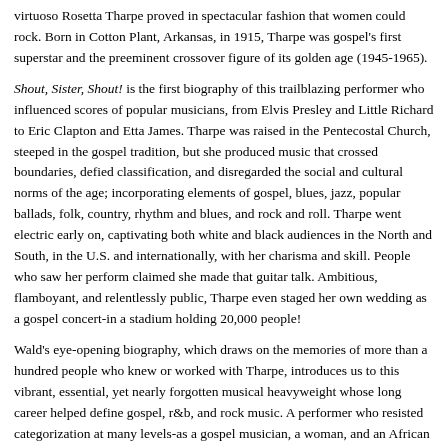virtuoso Rosetta Tharpe proved in spectacular fashion that women could rock. Born in Cotton Plant, Arkansas, in 1915, Tharpe was gospel's first superstar and the preeminent crossover figure of its golden age (1945-1965).
Shout, Sister, Shout! is the first biography of this trailblazing performer who influenced scores of popular musicians, from Elvis Presley and Little Richard to Eric Clapton and Etta James. Tharpe was raised in the Pentecostal Church, steeped in the gospel tradition, but she produced music that crossed boundaries, defied classification, and disregarded the social and cultural norms of the age; incorporating elements of gospel, blues, jazz, popular ballads, folk, country, rhythm and blues, and rock and roll. Tharpe went electric early on, captivating both white and black audiences in the North and South, in the U.S. and internationally, with her charisma and skill. People who saw her perform claimed she made that guitar talk. Ambitious, flamboyant, and relentlessly public, Tharpe even staged her own wedding as a gospel concert-in a stadium holding 20,000 people!
Wald's eye-opening biography, which draws on the memories of more than a hundred people who knew or worked with Tharpe, introduces us to this vibrant, essential, yet nearly forgotten musical heavyweight whose long career helped define gospel, r&b, and rock music. A performer who resisted categorization at many levels-as a gospel musician, a woman, and an African American-Tharpe demands that we rethink our most basic notions of music history and American culture. Her story forever alters our understanding of both women in rock and U.S. popular music.